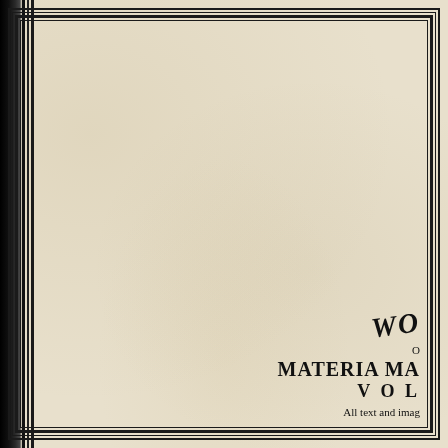[Figure (illustration): Aged book cover page with multiple concentric border lines and a dark spine on the left side. Cream/beige textured paper background visible.]
WO
O
MATERIA MA
VOL
All text and imag